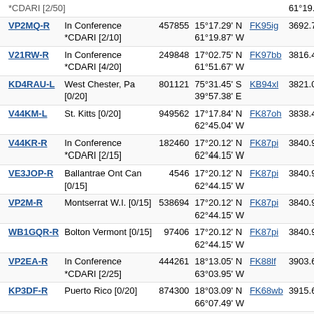| Callsign | Location | Node | Coordinates | Grid | Dist |
| --- | --- | --- | --- | --- | --- |
| *CDARI [2/50] |  |  | 61°19.87' W |  |  |
| VP2MQ-R | In Conference *CDARI [2/10] | 457855 | 15°17.29' N 61°19.87' W | FK95ig | 3692.7 1 |
| V21RW-R | In Conference *CDARI [4/20] | 249848 | 17°02.75' N 61°51.67' W | FK97bb | 3816.4 1 |
| KD4RAU-L | West Chester, Pa [0/20] | 801121 | 75°31.45' S 39°57.38' E | KB94xl | 3821.0 |
| V44KM-L | St. Kitts [0/20] | 949562 | 17°17.84' N 62°45.04' W | FK87oh | 3838.4 1 |
| V44KR-R | In Conference *CDARI [2/15] | 182460 | 17°20.12' N 62°44.15' W | FK87pi | 3840.9 4 |
| VE3JOP-R | Ballantrae Ont Can [0/15] | 4546 | 17°20.12' N 62°44.15' W | FK87pi | 3840.9 4 |
| VP2M-R | Montserrat W.I. [0/15] | 538694 | 17°20.12' N 62°44.15' W | FK87pi | 3840.9 4 |
| WB1GQR-R | Bolton Vermont [0/15] | 97406 | 17°20.12' N 62°44.15' W | FK87pi | 3840.9 4 |
| VP2EA-R | In Conference *CDARI [2/25] | 444261 | 18°13.05' N 63°03.95' W | FK88lf | 3903.6 1 |
| KP3DF-R | Puerto Rico [0/20] | 874300 | 18°03.09' N 66°07.49' W | FK68wb | 3915.6 4 |
| KP4SLH-R | Lajas (1) | 923440 | 18°00.05' N 67°00.06' W | FK68la | 3920.6 4 |
| WP4FD-R | Lajas, PR [2/10] | 310100 | 18°03.06' N 67°01.92' W | FK68lb | 3924.4 |
| KP4FRA-R | Fed.Radioaficionados (4) | 181081 | 18°16.47' N 65°40.09' W | FK78dg | 3926.7 4 |